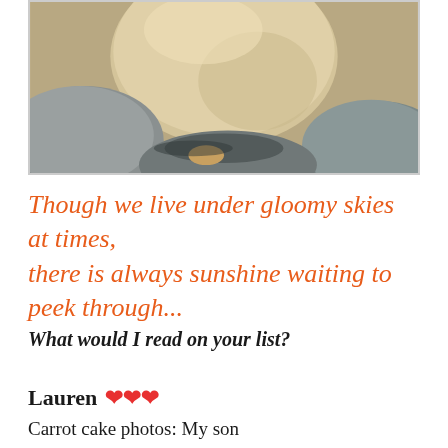[Figure (photo): Close-up photo of large rounded beige/tan boulder rocks with shadows and crevices between them, warm golden lighting]
Though we live under gloomy skies at times, there is always sunshine waiting to peek through...
What would I read on your list?
Lauren ❤❤❤
Carrot cake photos: My son